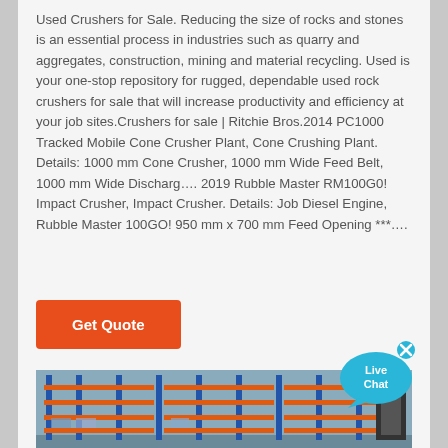Used Crushers for Sale. Reducing the size of rocks and stones is an essential process in industries such as quarry and aggregates, construction, mining and material recycling. Used is your one-stop repository for rugged, dependable used rock crushers for sale that will increase productivity and efficiency at your job sites.Crushers for sale | Ritchie Bros.2014 PC1000 Tracked Mobile Cone Crusher Plant, Cone Crushing Plant. Details: 1000 mm Cone Crusher, 1000 mm Wide Feed Belt, 1000 mm Wide Discharg…. 2019 Rubble Master RM100G0! Impact Crusher, Impact Crusher. Details: Job Diesel Engine, Rubble Master 100GO! 950 mm x 700 mm Feed Opening ***….
[Figure (other): Live Chat button — blue speech bubble with 'Live Chat' text and an X close button]
[Figure (other): Orange 'Get Quote' button]
[Figure (photo): Industrial warehouse interior showing blue and orange steel racking/shelving systems with equipment]